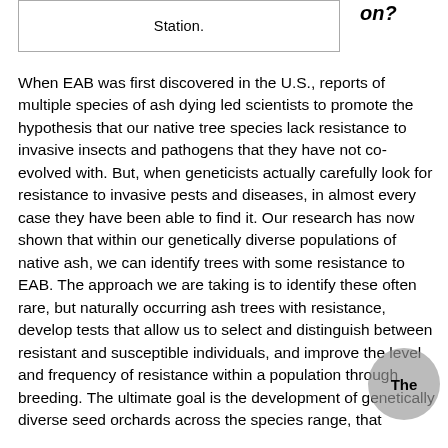Station.
on?
When EAB was first discovered in the U.S., reports of multiple species of ash dying led scientists to promote the hypothesis that our native tree species lack resistance to invasive insects and pathogens that they have not co-evolved with. But, when geneticists actually carefully look for resistance to invasive pests and diseases, in almost every case they have been able to find it. Our research has now shown that within our genetically diverse populations of native ash, we can identify trees with some resistance to EAB. The approach we are taking is to identify these often rare, but naturally occurring ash trees with resistance, develop tests that allow us to select and distinguish between resistant and susceptible individuals, and improve the level and frequency of resistance within a population through breeding. The ultimate goal is the development of genetically diverse seed orchards across the species range, that